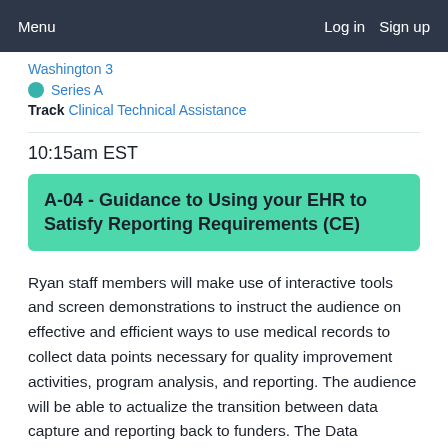Menu   Log in  Sign up
Washington 3
Series A
Track Clinical Technical Assistance
10:15am EST
A-04 - Guidance to Using your EHR to Satisfy Reporting Requirements (CE)
Ryan staff members will make use of interactive tools and screen demonstrations to instruct the audience on effective and efficient ways to use medical records to collect data points necessary for quality improvement activities, program analysis, and reporting. The audience will be able to actualize the transition between data capture and reporting back to funders. The Data Manager, Assistant